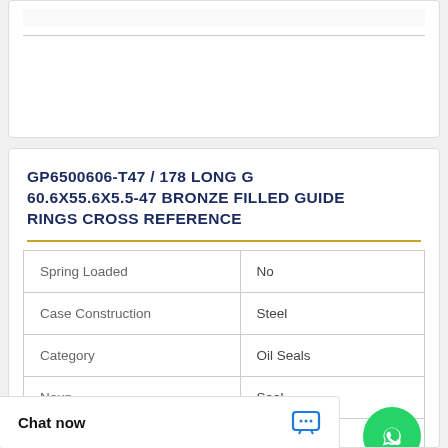GP6500606-T47 / 178 LONG G 60.6X55.6X5.5-47 BRONZE FILLED GUIDE RINGS CROSS REFERENCE
| Property | Value |
| --- | --- |
| Spring Loaded | No |
| Case Construction | Steel |
| Category | Oil Seals |
| Noun | Seal |
| Manufacturer Name | SKF |
|  | .63 Inch / 16.002 |
[Figure (other): WhatsApp Online widget - green circle with phone icon, text 'WhatsApp Online']
Chat now